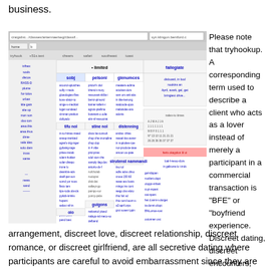business.
[Figure (screenshot): Screenshot of a Craigslist-style webpage showing a classified ads listing with multiple categories including jobs, personals, housing, community, and services sections.]
Please note that tryhookup. A corresponding term used to describe a client who acts as a lover instead of merely a participant in a commercial transaction is "BFE" or "boyfriend experience. Discreet dating, discreet encounters, discreet affairs, discreet arrangement, discreet love, discreet relationship, discreet romance, or discreet girlfriend, are all secretive dating where participants are careful to avoid embarrassment since they are dealing with private